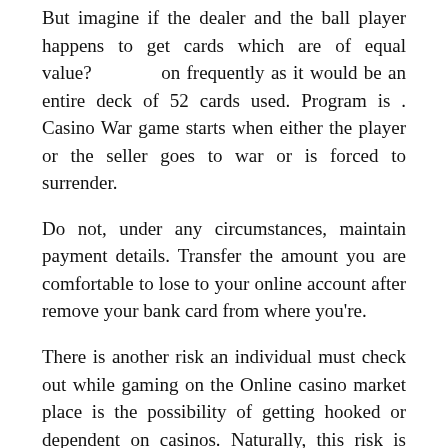But imagine if the dealer and the ball player happens to get cards which are of equal value?          on frequently as it would be an entire deck of 52 cards used. Program is . Casino War game starts when either the player or the seller goes to war or is forced to surrender.
Do not, under any circumstances, maintain payment details. Transfer the amount you are comfortable to lose to your online account after remove your bank card from where you're.
There is another risk an individual must check out while gaming on the Online casino market place is the possibility of getting hooked or dependent on casinos. Naturally, this risk is there in every casino, whether you play online or offline. Never view gambling as a skill to get some extra $ $ $ $. It's only a kind of delight. If you gain some bucks, that is good. Anyone should view that whilst the bonus, not